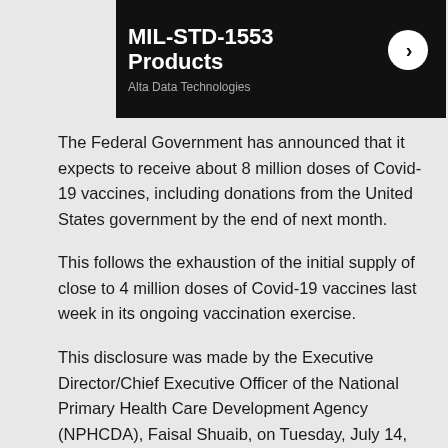[Figure (other): Black banner advertisement for MIL-STD-1553 Products by Alta Data Technologies with a white circular arrow button]
The Federal Government has announced that it expects to receive about 8 million doses of Covid-19 vaccines, including donations from the United States government by the end of next month.
This follows the exhaustion of the initial supply of close to 4 million doses of Covid-19 vaccines last week in its ongoing vaccination exercise.
This disclosure was made by the Executive Director/Chief Executive Officer of the National Primary Health Care Development Agency (NPHCDA), Faisal Shuaib, on Tuesday, July 14, 2021, during a press briefing in Abuja.